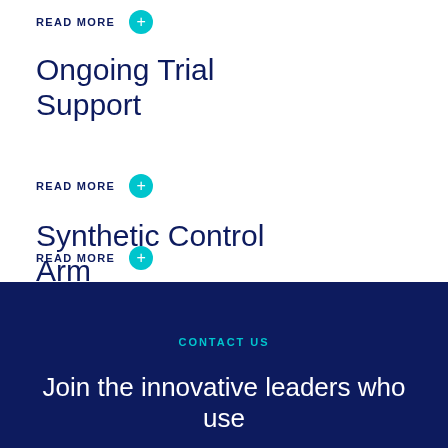READ MORE
Ongoing Trial Support
READ MORE
Synthetic Control Arm
READ MORE
CONTACT US
Join the innovative leaders who use